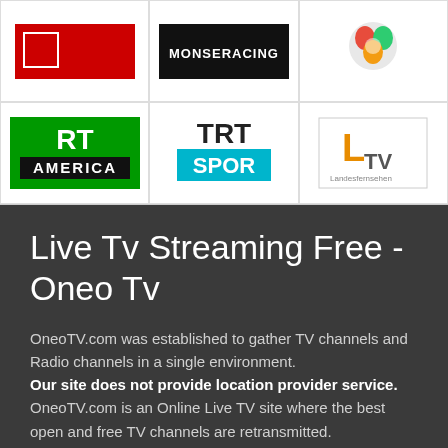[Figure (logo): Grid of TV channel logos: row 1: red logo (partially visible), MonSeRacing logo (black/white), colorful floral/globe logo; row 2: RT America (green background), TRT SPOR (teal text), LTV Landesfernsehen (orange L)]
Live Tv Streaming Free - Oneo Tv
OneoTV.com was established to gather TV channels and Radio channels in a single environment. Our site does not provide location provider service. OneoTV.com is an Online Live TV site where the best open and free TV channels are retransmitted.
✉ oneotvinfo@gmail.com
Quick Links
Privacy